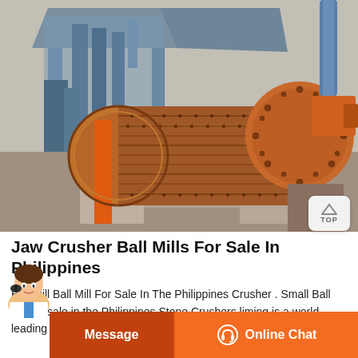[Figure (photo): Industrial ball mill machine in an outdoor factory setting. A large orange cylindrical horizontal ball mill with bolted flanges is prominently visible, mounted on a concrete foundation. Blue industrial structures and equipment are visible in the background.]
Jaw Crusher Ball Mills For Sale In Philippines
Ball Mill Ball Mill For Sale In The Philippines Crusher . Small Ball mill for sale in the Philippines Stone Crushers liming is a world leading supplier of ball mill and has the advanced technology in ball